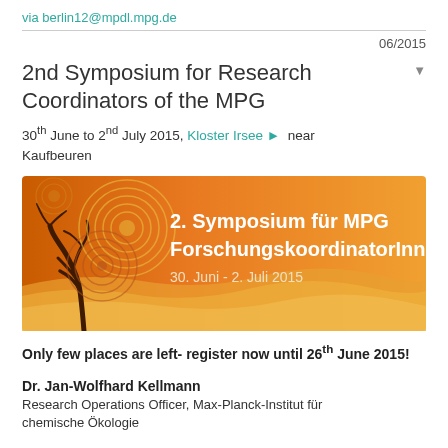via berlin12@mpdl.mpg.de
06/2015
2nd Symposium for Research Coordinators of the MPG
30th June to 2nd July 2015, Kloster Irsee ► near Kaufbeuren
[Figure (illustration): Banner image for the 2nd Symposium für MPG ForschungskoordinatorInnen, showing a tree silhouette and fingerprint patterns in orange and brown tones, with white text: '2. Symposium für MPG ForschungskoordinatorInnen, 30. Juni - 2. Juli 2015']
Only few places are left- register now until 26th June 2015!
Dr. Jan-Wolfhard Kellmann
Research Operations Officer, Max-Planck-Institut für chemische Ökologie